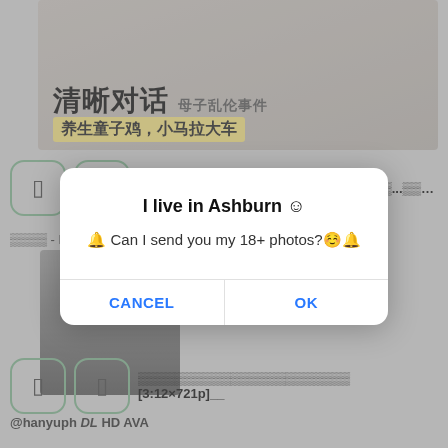[Figure (screenshot): Screenshot of a video listing website with Chinese text banner at top showing '清晰对话 母子乱伦事件' and '养生童子鸡，小马拉大车', below are rows with pill-shaped buttons and video titles. A modal dialog overlays the page.]
FC2-PPV-2897075 ░░░░③░░░░░░░░░░...░░░░○░░
░░░░ - ManyMV [53:37×720p] @manymv DL HD
I live in Ashburn ☺
🔔 Can I send you my 18+ photos?☺️🔔
CANCEL
OK
░░░░░░░░░░░░░░░░░░░░░░░ [3:12×721p]__
@hanyuph DL HD AVA